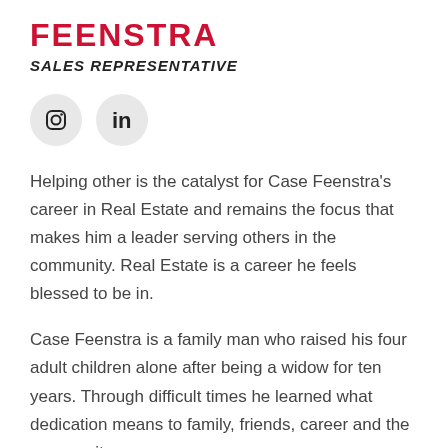FEENSTRA
SALES REPRESENTATIVE
[Figure (illustration): Two circular social media icons: Instagram and LinkedIn]
Helping other is the catalyst for Case Feenstra's career in Real Estate and remains the focus that makes him a leader serving others in the community. Real Estate is a career he feels blessed to be in.
Case Feenstra is a family man who raised his four adult children alone after being a widow for ten years. Through difficult times he learned what dedication means to family, friends, career and the community.